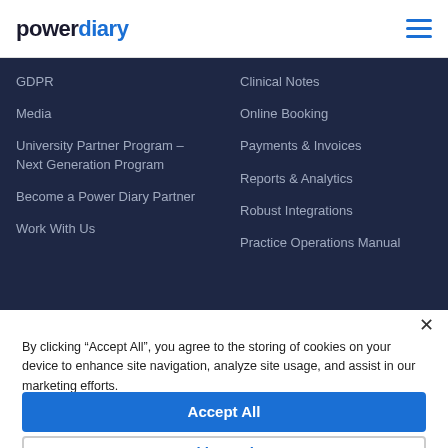[Figure (logo): Power Diary logo — 'power' in dark text and 'diary' in blue]
GDPR
Media
University Partner Program – Next Generation Program
Become a Power Diary Partner
Work With Us
Clinical Notes
Online Booking
Payments & Invoices
Reports & Analytics
Robust Integrations
Practice Operations Manual
By clicking “Accept All”, you agree to the storing of cookies on your device to enhance site navigation, analyze site usage, and assist in our marketing efforts.
Accept All
Cookie Settings